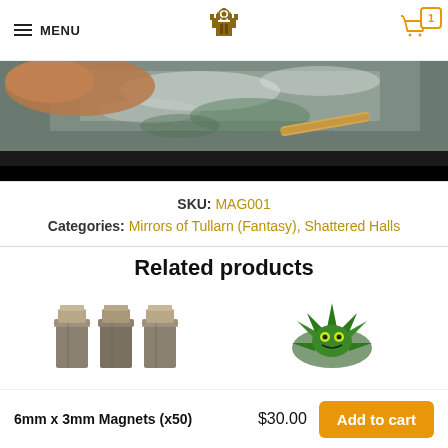MENU | [Logo] | Cart (1)
[Figure (photo): Close-up photo of a hand working on a painted miniature terrain piece, showing green and grey textured surface with a wooden stick/tool]
SKU: MAG001
Categories: Mirrors of Tullarn (Fantasy), Shattered Halls
Related products
[Figure (photo): Three grey/tan colored miniature pillars or columns side by side]
[Figure (photo): Green decorative miniature element with spiky design]
6mm x 3mm Magnets (x50)  $30.00  Add to cart